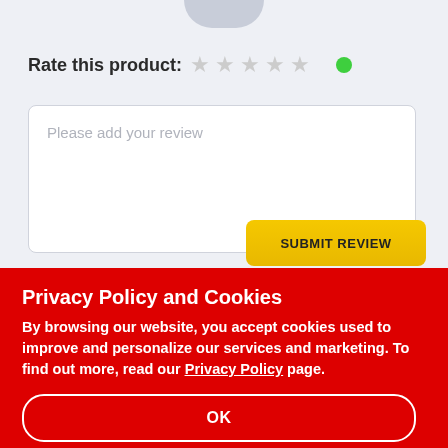Rate this product: ☆ ☆ ☆ ☆ ☆
Please add your review
SUBMIT REVIEW
Privacy Policy and Cookies
By browsing our website, you accept cookies used to improve and personalize our services and marketing. To find out more, read our Privacy Policy page.
OK